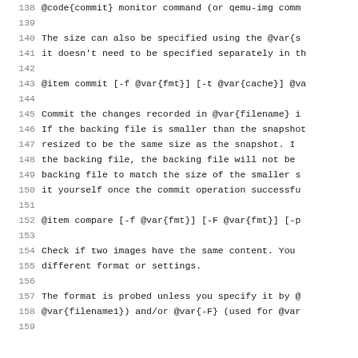138  @code{commit} monitor command (or qemu-img comm
139
140  The size can also be specified using the @var{s
141  it doesn't need to be specified separately in th
142
143  @item commit [-f @var{fmt}] [-t @var{cache}] @va
144
145  Commit the changes recorded in @var{filename} i
146  If the backing file is smaller than the snapshot
147  resized to be the same size as the snapshot. I
148  the backing file, the backing file will not be
149  backing file to match the size of the smaller s
150  it yourself once the commit operation successfu
151
152  @item compare [-f @var{fmt}] [-F @var{fmt}] [-p
153
154  Check if two images have the same content. You
155  different format or settings.
156
157  The format is probed unless you specify it by @
158  @var{filename1}) and/or @var{-F} (used for @var
159